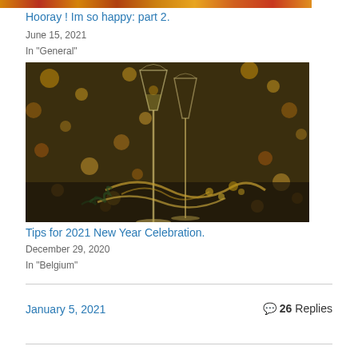[Figure (photo): Partial top strip of a celebratory image, cropped]
Hooray ! Im so happy: part 2.
June 15, 2021
In "General"
[Figure (photo): Two champagne flutes with gold ribbons and decorations, bokeh lights in background, New Year celebration scene]
Tips for 2021 New Year Celebration.
December 29, 2020
In "Belgium"
January 5, 2021
26 Replies